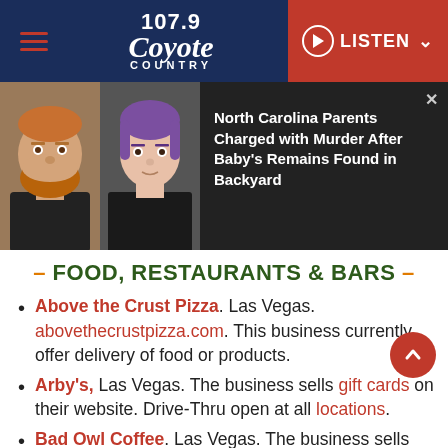107.9 Coyote Country — LISTEN
[Figure (photo): News banner with two mugshot photos (bearded male on left, female with purple hair on right) on dark background, with headline text to the right.]
North Carolina Parents Charged with Murder After Baby's Remains Found in Backyard
– FOOD, RESTAURANTS & BARS –
Above the Crust Pizza. Las Vegas. abovethecrustpizza.com. This business currently offer delivery of food or products.
Arby's, Las Vegas. The business sells gift cards on their website. Drive-Thru open at all locations.
Bad Owl Coffee. Las Vegas. The business sells gift cards on their website.